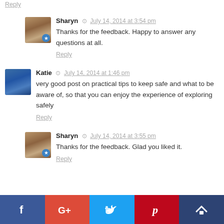Reply
Sharyn  July 14, 2014 at 3:54 pm
Thanks for the feedback. Happy to answer any questions at all.
Reply
Katie  July 14, 2014 at 1:46 pm
very good post on practical tips to keep safe and what to be aware of, so that you can enjoy the experience of exploring safely
Reply
Sharyn  July 14, 2014 at 3:55 pm
Thanks for the feedback. Glad you liked it.
Reply